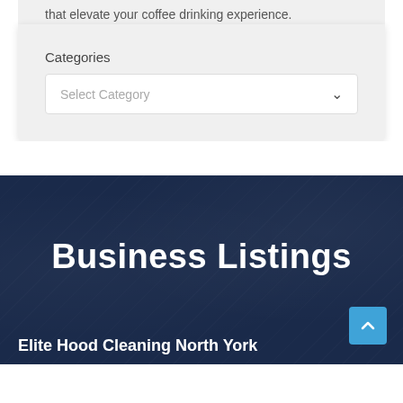that elevate your coffee drinking experience.
Categories
Select Category
Business Listings
Elite Hood Cleaning North York